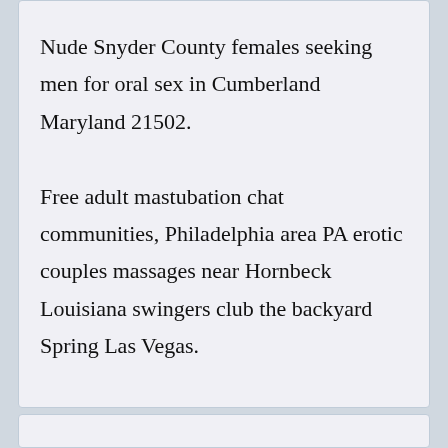Nude Snyder County females seeking men for oral sex in Cumberland Maryland 21502. Free adult mastubation chat communities, Philadelphia area PA erotic couples massages near Hornbeck Louisiana swingers club the backyard Spring Las Vegas.